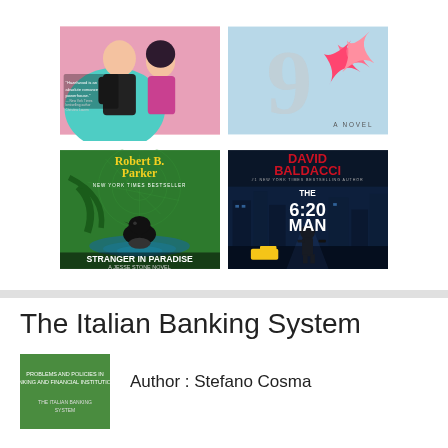[Figure (illustration): A 2x2 grid of book covers: top-left is a romance novel with two illustrated figures; top-right shows a pink floral '9' novel cover; bottom-left is Robert B. Parker's 'Stranger in Paradise - A Jesse Stone Novel' with a crow on water; bottom-right is David Baldacci's 'The 6:20 Man' thriller.]
The Italian Banking System
[Figure (illustration): Small green book cover for 'The Italian Banking System' with white text.]
Author : Stefano Cosma